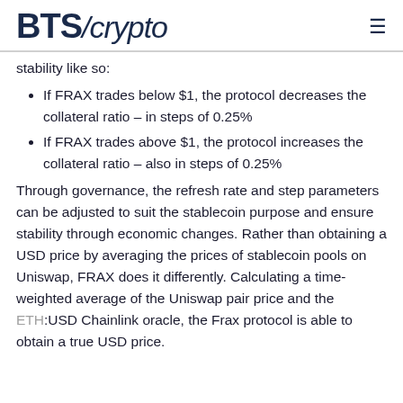BTS/crypto
stability like so:
If FRAX trades below $1, the protocol decreases the collateral ratio – in steps of 0.25%
If FRAX trades above $1, the protocol increases the collateral ratio – also in steps of 0.25%
Through governance, the refresh rate and step parameters can be adjusted to suit the stablecoin purpose and ensure stability through economic changes. Rather than obtaining a USD price by averaging the prices of stablecoin pools on Uniswap, FRAX does it differently. Calculating a time-weighted average of the Uniswap pair price and the ETH:USD Chainlink oracle, the Frax protocol is able to obtain a true USD price.